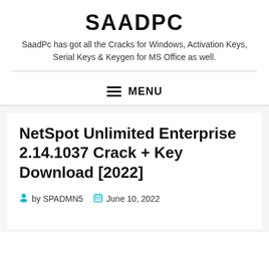SAADPC
SaadPc has got all the Cracks for Windows, Activation Keys, Serial Keys & Keygen for MS Office as well.
MENU
NetSpot Unlimited Enterprise 2.14.1037 Crack + Key Download [2022]
by SPADMN5   June 10, 2022